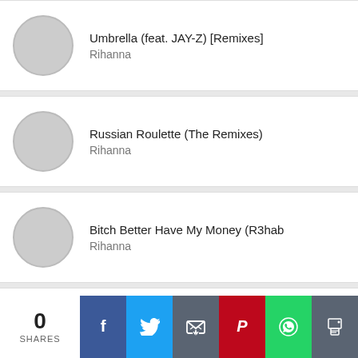Umbrella (feat. JAY-Z) [Remixes] — Rihanna
Russian Roulette (The Remixes) — Rihanna
Bitch Better Have My Money (R3hab — Rihanna
Good Girl Gone Bad (Live Video Album) — Rihanna
0 SHARES
[Figure (infographic): Social share bar with buttons: Facebook (blue), Twitter (light blue), Email (dark gray), Pinterest (red), WhatsApp (green), Print (gray)]